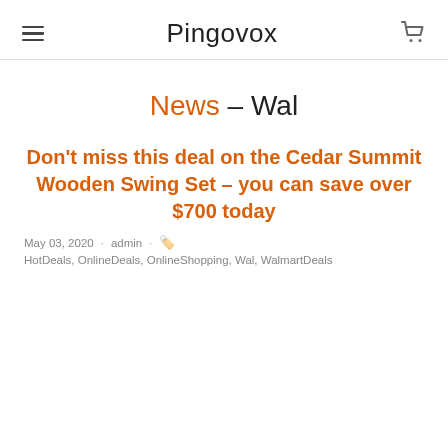Pingovox
News – Wal
Don't miss this deal on the Cedar Summit Wooden Swing Set – you can save over $700 today
May 03, 2020 · admin · HotDeals, OnlineDeals, OnlineShopping, Wal, WalmartDeals